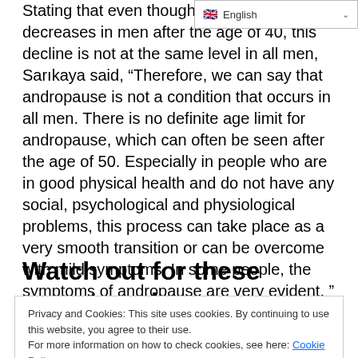[Figure (screenshot): Language selector dropdown showing English with flag icon and chevron]
Stating that even though the testosterone decreases in men after the age of 40, this decline is not at the same level in all men, Sarıkaya said, "Therefore, we can say that andropause is not a condition that occurs in all men. There is no definite age limit for andropause, which can often be seen after the age of 50. Especially in people who are in good physical health and do not have any social, psychological and physiological problems, this process can take place as a very smooth transition or can be overcome with mild symptoms. In some people, the symptoms of andropause are very evident. " he spoke.
Watch out for these symptoms!
Privacy and Cookies: This site uses cookies. By continuing to use this website, you agree to their use.
For more information on how to check cookies, see here: Cookie Policy
pain in muscles and joints, reduction in body hair, weight gain,